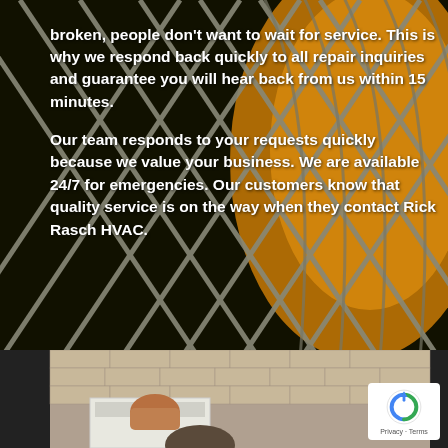[Figure (photo): Background photo of HVAC metal grill/grille with diagonal metal bars against a dark background with orange/yellow circular vent visible. Bottom portion shows a technician working on rooftop HVAC unit with shingle roof visible.]
broken, people don't want to wait for service. This is why we respond back quickly to all repair inquiries and guarantee you will hear back from us within 15 minutes. Our team responds to your requests quickly because we value your business. We are available 24/7 for emergencies. Our customers know that quality service is on the way when they contact Rick Rasch HVAC.